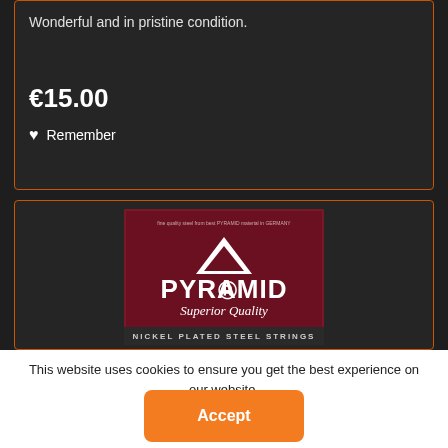Wonderful and in pristine condition.
€15.00
Remember
[Figure (photo): Pyramid Superior Quality Nickel Plated Steel Strings product package — dark red/maroon background with white pyramid logo and text]
This website uses cookies to ensure you get the best experience on our website.
Accept